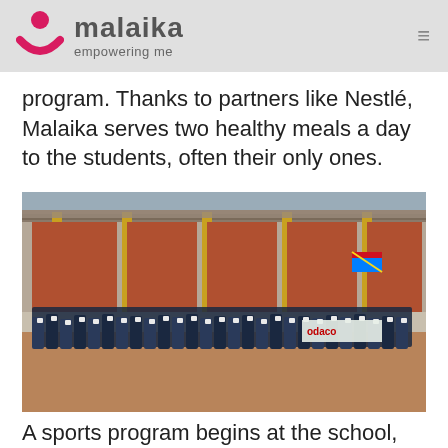malaika — empowering me
program. Thanks to partners like Nestlé, Malaika serves two healthy meals a day to the students, often their only ones.
[Figure (photo): A large group of schoolchildren in dark blue uniforms standing on a dirt ground in front of a large building with a metal roof and yellow structural pillars. A Vodacom banner is visible in the background along with a flag.]
A sports program begins at the school, designed by Holly Bilinger, former professional